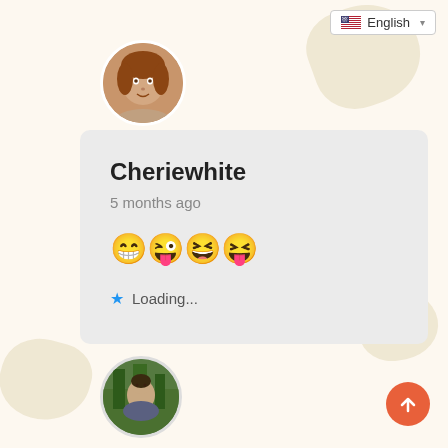[Figure (screenshot): Language selector dropdown showing English with US flag icon at top right]
[Figure (photo): Circular profile photo of a woman with reddish-brown hair, top left area]
Cheriewhite
5 months ago
[Figure (other): Four emoji faces: grinning face with big eyes, face with tongue, grinning squinting face, face with tongue and winking eye]
★ Loading...
[Figure (photo): Circular profile photo of a man in a wooded area, bottom left]
[Figure (other): Orange scroll-to-top button with upward arrow, bottom right]